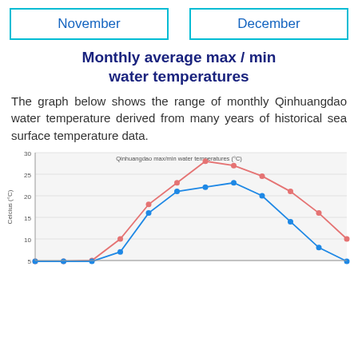November    December
Monthly average max / min water temperatures
The graph below shows the range of monthly Qinhuangdao water temperature derived from many years of historical sea surface temperature data.
[Figure (line-chart): Qinhuangdao max/min water temperatures (°C)]